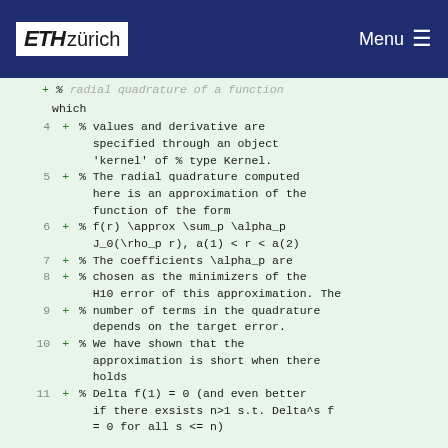ETH zürich   Menu
% radial quadrature of a function which
4 + % values and derivative are specified through an object 'kernel' of % type Kernel.
5 + % The radial quadrature computed here is an approximation of the function of the form
6 + % f(r) \approx \sum_p \alpha_p J_O(\rho_p r), a(1) < r < a(2)
7 + % The coefficients \alpha_p are
8 + % chosen as the minimizers of the H10 error of this approximation. The
9 + % number of terms in the quadrature depends on the target error.
10 + % We have shown that the approximation is short when there holds
11 + % Delta f(1) = 0 (and even better if there exsists n>1 s.t. Delta^s f = 0 for all s <= n)